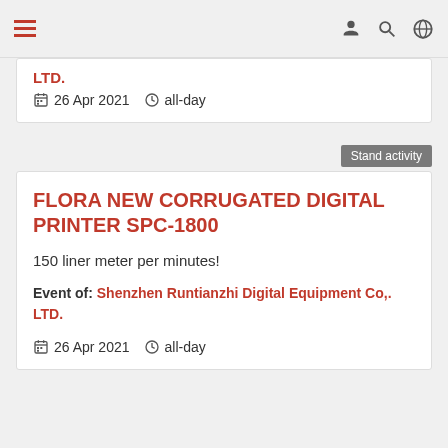Navigation bar with hamburger menu and icons
LTD.
26 Apr 2021  all-day
Stand activity
FLORA NEW CORRUGATED DIGITAL PRINTER SPC-1800
150 liner meter per minutes!
Event of: Shenzhen Runtianzhi Digital Equipment Co,. LTD.
26 Apr 2021  all-day